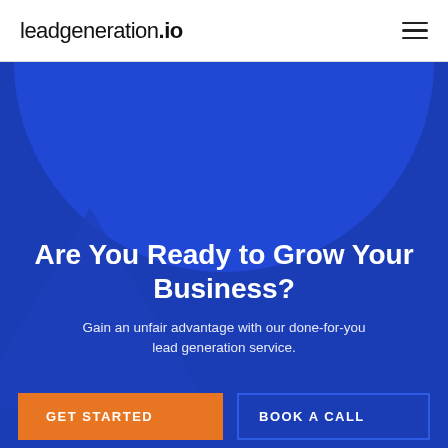leadgeneration.io
Are You Ready to Grow Your Business?
Gain an unfair advantage with our done-for-you lead generation service.
GET STARTED
BOOK A CALL